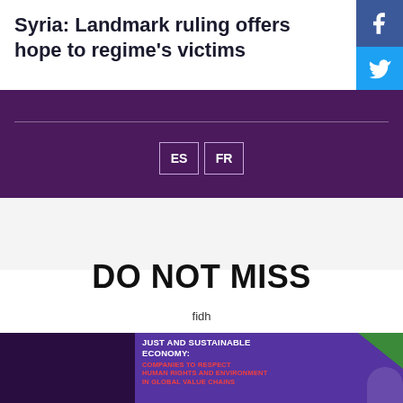Syria: Landmark ruling offers hope to regime's victims
[Figure (other): Facebook social share icon button (blue)]
[Figure (other): Twitter social share icon button (light blue)]
[Figure (other): Purple language selection bar with horizontal rule and ES / FR language buttons]
DO NOT MISS
fidh
[Figure (photo): Event photo with purple slide reading: JUST AND SUSTAINABLE ECONOMY: COMPANIES TO RESPECT HUMAN RIGHTS AND ENVIRONMENT IN GLOBAL VALUE CHAINS, with speaker visible]